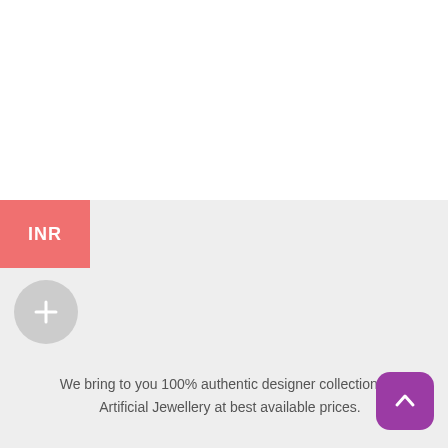[Figure (screenshot): White top section of a webpage, blank product area]
INR
[Figure (other): Gray circular plus button for adding items]
We bring to you 100% authentic designer collections of Artificial Jewellery at best available prices.
[Figure (other): Purple rounded square scroll-to-top button with upward chevron icon]